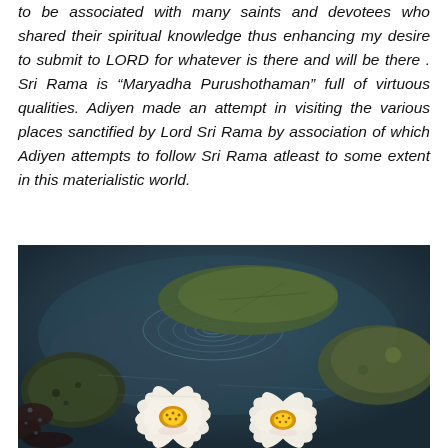to be associated with many saints and devotees who shared their spiritual knowledge thus enhancing my desire to submit to LORD for whatever is there and will be there . Sri Rama is “Maryadha Purushothaman” full of virtuous qualities. Adiyen made an attempt in visiting the various places sanctified by Lord Sri Rama by association of which Adiyen attempts to follow Sri Rama atleast to some extent in this materialistic world.
[Figure (photo): Photograph of white lotus/water lily flowers blooming on dark water with lily pads and water ripples visible.]